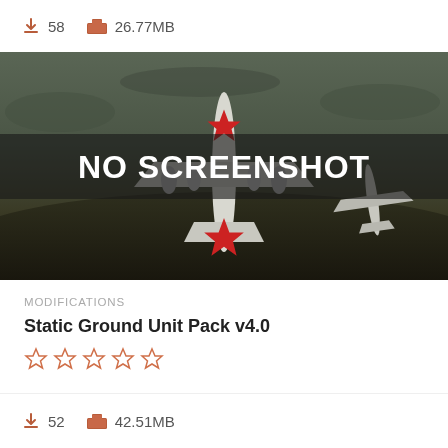58   26.77MB
[Figure (screenshot): A WWII-era Soviet military aircraft (white with red stars) on a dark stormy background with 'NO SCREENSHOT' text overlay in bold white capitals on a semi-transparent dark bar]
MODIFICATIONS
Static Ground Unit Pack v4.0
★☆☆☆☆ (5 empty stars)
52   42.51MB